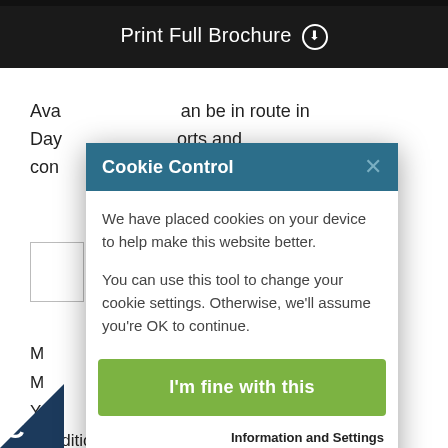Print Full Brochure ⊕
Available... can be in route in Days...orts and con...
[Figure (screenshot): Cookie Control modal dialog overlay on a webpage. Header says 'Cookie Control' with close X button. Body text: 'We have placed cookies on your device to help make this website better. You can use this tool to change your cookie settings. Otherwise, we'll assume you're OK to continue.' Green button 'I'm fine with this'. Footer links: 'Information and Settings' and 'About our cookies' with external link icon.]
M
M
Ye
Condition: Used
Category: Power
struction: Fiberglass